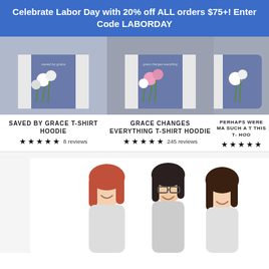Celebrate Labor Day with 20% off ALL orders $75+! Enter Code LABORDAY
[Figure (photo): Blue hoodie t-shirt with white flowers, product photo for Saved By Grace T-Shirt Hoodie]
SAVED BY GRACE T-SHIRT HOODIE ★★★★★ 8 reviews
[Figure (photo): Blue hoodie t-shirt with pink and white flowers, product photo for Grace Changes Everything T-Shirt Hoodie]
GRACE CHANGES EVERYTHING T-SHIRT HOODIE ★★★★★ 245 reviews
[Figure (photo): Partial view of a third blue hoodie product]
PERHAPS YOU WERE MADE FOR SUCH A TIME AS THIS T-SHIRT HOODIE ★★★★★
[Figure (photo): Three women laughing together, photo in bottom section of the page]